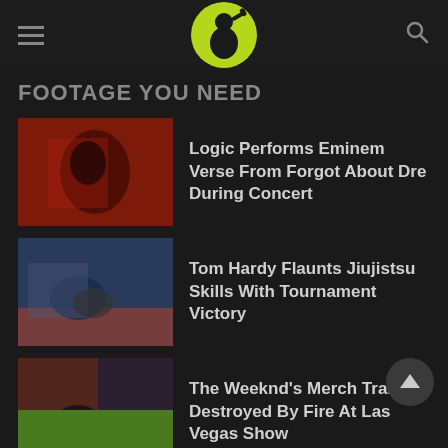Footage You Need - navigation header with logo
FOOTAGE YOU NEED
Logic Performs Eminem Verse From Forgot About Dre During Concert
Tom Hardy Flaunts Jiujistsu Skills With Tournament Victory
The Weeknd's Merch Trailer Destroyed By Fire At Las Vegas Show